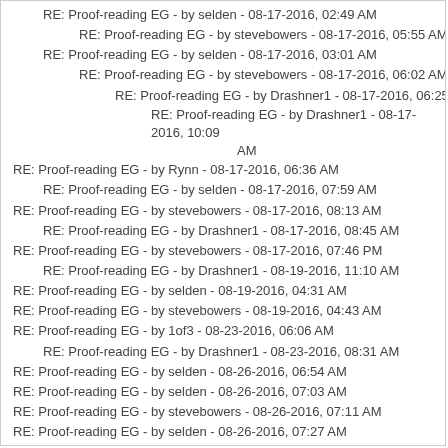RE: Proof-reading EG - by selden - 08-17-2016, 02:49 AM
RE: Proof-reading EG - by stevebowers - 08-17-2016, 05:55 AM
RE: Proof-reading EG - by selden - 08-17-2016, 03:01 AM
RE: Proof-reading EG - by stevebowers - 08-17-2016, 06:02 AM
RE: Proof-reading EG - by Drashner1 - 08-17-2016, 06:25 AM
RE: Proof-reading EG - by Drashner1 - 08-17-2016, 10:09 AM
RE: Proof-reading EG - by Rynn - 08-17-2016, 06:36 AM
RE: Proof-reading EG - by selden - 08-17-2016, 07:59 AM
RE: Proof-reading EG - by stevebowers - 08-17-2016, 08:13 AM
RE: Proof-reading EG - by Drashner1 - 08-17-2016, 08:45 AM
RE: Proof-reading EG - by stevebowers - 08-17-2016, 07:46 PM
RE: Proof-reading EG - by Drashner1 - 08-19-2016, 11:10 AM
RE: Proof-reading EG - by selden - 08-19-2016, 04:31 AM
RE: Proof-reading EG - by stevebowers - 08-19-2016, 04:43 AM
RE: Proof-reading EG - by 1of3 - 08-23-2016, 06:06 AM
RE: Proof-reading EG - by Drashner1 - 08-23-2016, 08:31 AM
RE: Proof-reading EG - by selden - 08-26-2016, 06:54 AM
RE: Proof-reading EG - by selden - 08-26-2016, 07:03 AM
RE: Proof-reading EG - by stevebowers - 08-26-2016, 07:11 AM
RE: Proof-reading EG - by selden - 08-26-2016, 07:27 AM
RE: Proof-reading EG - by selden - 08-26-2016, 07:46 AM
RE: Proof-reading EG - by selden - 08-26-2016, 08:07 AM
RE: Proof-reading EG - by selden - 08-26-2016, 08:29 AM
RE: Proof-reading EG - by stevebowers - 08-26-2016, 10:02 AM